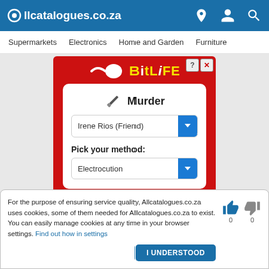allcatalogues.co.za
Supermarkets
Electronics
Home and Garden
Furniture
[Figure (screenshot): BitLife mobile game advertisement showing a 'Murder' dialog with a dropdown for 'Irene Rios (Friend)', a 'Pick your method: Electrocution' dropdown, a 'Do it!' button and a 'No, what am I thinking?' button, on a red background.]
For the purpose of ensuring service quality, Allcatalogues.co.za uses cookies, some of them needed for Allcatalogues.co.za to exist. You can easily manage cookies at any time in your browser settings. Find out how in settings
I UNDERSTOOD